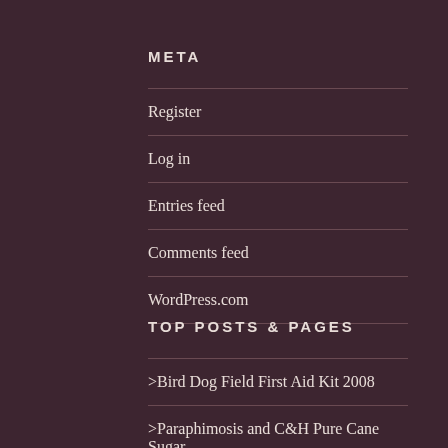META
Register
Log in
Entries feed
Comments feed
WordPress.com
TOP POSTS & PAGES
>Bird Dog Field First Aid Kit 2008
>Paraphimosis and C&H Pure Cane Sugar